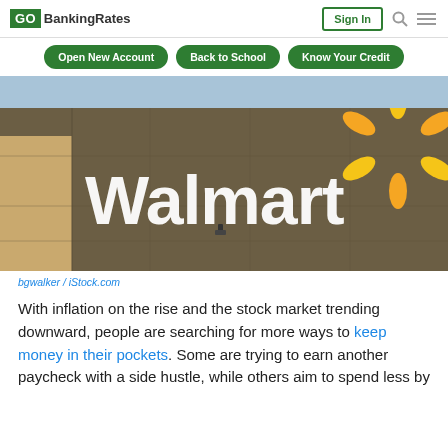GO BankingRates | Sign In
Open New Account | Back to School | Know Your Credit
[Figure (photo): Exterior of a Walmart store building showing the Walmart logo with the yellow spark/sunburst logo on a brown facade, with a light blue sky in the background.]
bgwalker / iStock.com
With inflation on the rise and the stock market trending downward, people are searching for more ways to keep money in their pockets. Some are trying to earn another paycheck with a side hustle, while others aim to spend less by